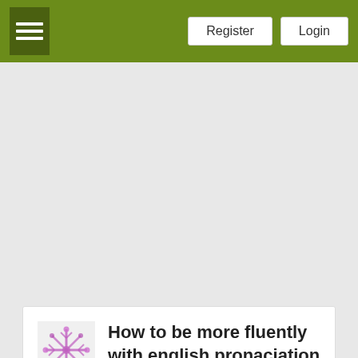Register | Login
How to be more fluently with english pronaciation ?
How to be more fluently with english pronaciation ?